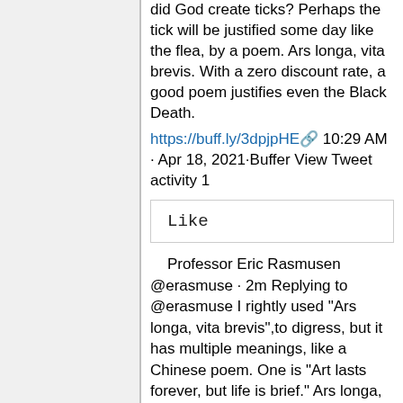did God create ticks? Perhaps the tick will be justified some day like the flea, by a poem. Ars longa, vita brevis. With a zero discount rate, a good poem justifies even the Black Death.
https://buff.ly/3dpjpHE  10:29 AM · Apr 18, 2021·Buffer View Tweet activity 1
Like
Professor Eric Rasmusen @erasmuse · 2m Replying to @erasmuse I rightly used "Ars longa, vita brevis",to digress, but it has multiple meanings, like a Chinese poem. One is "Art lasts forever, but life is brief." Ars longa, vita brevis - Wikipedia en.wikipedia.org
Professor Eric Rasmusen @erasmuse The original, in Greek, is